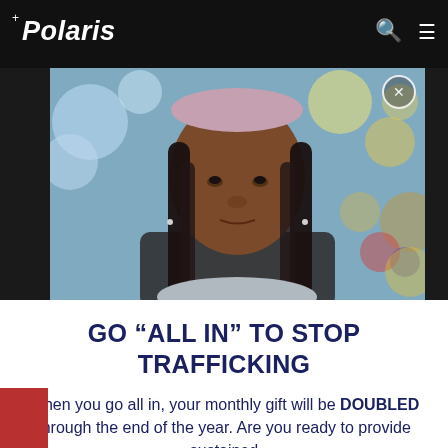Polaris
[Figure (photo): Portrait of a young Black girl with braids and a pink headband, looking at the camera with a neutral-serious expression. Bokeh city lights background with colorful out-of-focus lights in teal, yellow, and red.]
GO “ALL IN” TO STOP TRAFFICKING
When you go all in, your monthly gift will be DOUBLED through the end of the year. Are you ready to provide sustained